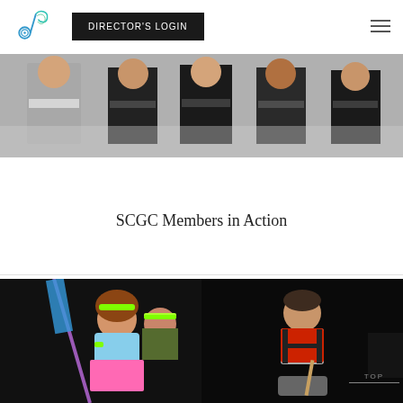DIRECTOR'S LOGIN
[Figure (photo): Group of students in performance costumes, cropped photo showing torsos/heads]
SCGC Members in Action
[Figure (photo): Left: female performer in colorful 80s-style costume with flag/rifle. Right: male performer in red and black costume at drumline.]